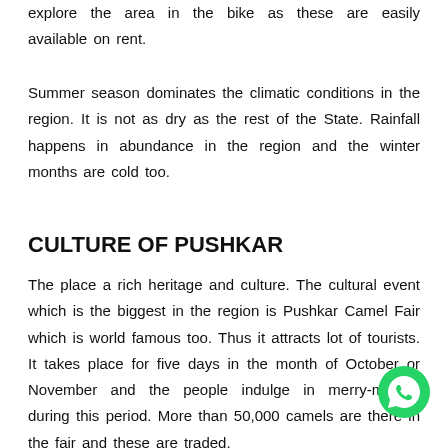explore the area in the bike as these are easily available on rent.
Summer season dominates the climatic conditions in the region. It is not as dry as the rest of the State. Rainfall happens in abundance in the region and the winter months are cold too.
CULTURE OF PUSHKAR
The place a rich heritage and culture. The cultural event which is the biggest in the region is Pushkar Camel Fair which is world famous too. Thus it attracts lot of tourists. It takes place for five days in the month of October or November and the people indulge in merry-making during this period. More than 50,000 camels are there in the fair and these are traded.